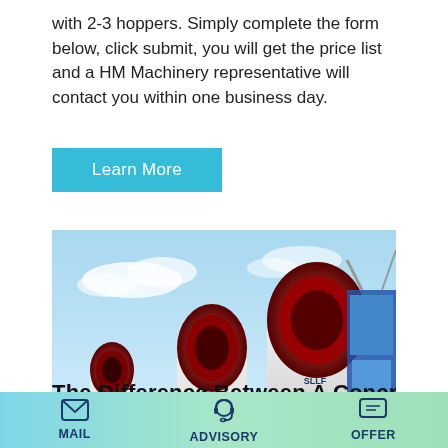with 2-3 hoppers. Simply complete the form below, click submit, you will get the price list and a HM Machinery representative will contact you within one business day.
Learn More
[Figure (photo): Large white industrial cement mixer drums / silos loaded horizontally on a flatbed truck trailer with blue frame, outdoors under blue sky.]
The Difference Between A Concr...
MAIL   ADVISORY   OFFER